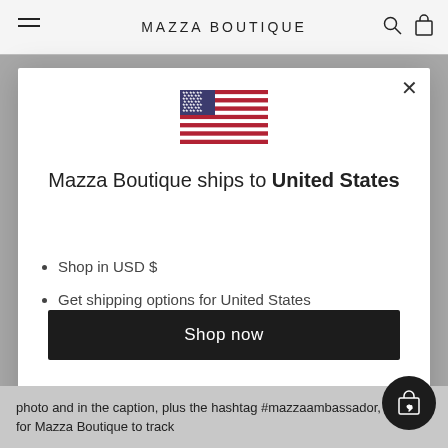MAZZA BOUTIQUE
[Figure (illustration): US flag SVG illustration]
Mazza Boutique ships to United States
Shop in USD $
Get shipping options for United States
Shop now
Change shipping country
photo and in the caption, plus the hashtag #mazzaambassador, in order for Mazza Boutique to track